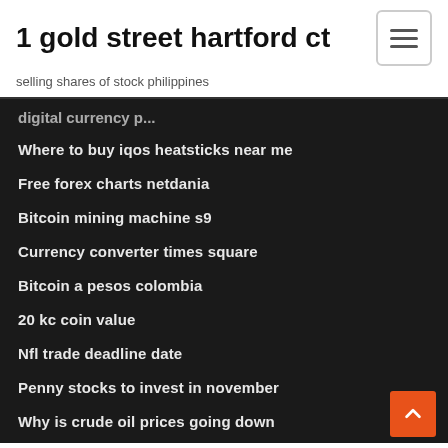1 gold street hartford ct
selling shares of stock philippines
Where to buy iqos heatsticks near me
Free forex charts netdania
Bitcoin mining machine s9
Currency converter times square
Bitcoin a pesos colombia
20 kc coin value
Nfl trade deadline date
Penny stocks to invest in november
Why is crude oil prices going down
Brent live crude oil prices uk